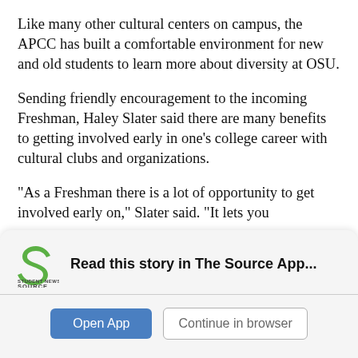Like many other cultural centers on campus, the APCC has built a comfortable environment for new and old students to learn more about diversity at OSU.
Sending friendly encouragement to the incoming Freshman, Haley Slater said there are many benefits to getting involved early in one’s college career with cultural clubs and organizations.
“As a Freshman there is a lot of opportunity to get involved early on,” Slater said. “It lets you
[Figure (logo): Student News Source app banner with logo, 'Read this story in The Source App...' text, and Open App / Continue in browser buttons]